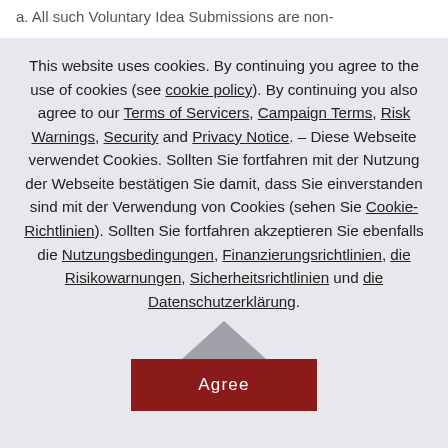a. All such Voluntary Idea Submissions are non-
This website uses cookies. By continuing you agree to the use of cookies (see cookie policy). By continuing you also agree to our Terms of Servicers, Campaign Terms, Risk Warnings, Security and Privacy Notice. – Diese Webseite verwendet Cookies. Sollten Sie fortfahren mit der Nutzung der Webseite bestätigen Sie damit, dass Sie einverstanden sind mit der Verwendung von Cookies (sehen Sie Cookie-Richtlinien). Sollten Sie fortfahren akzeptieren Sie ebenfalls die Nutzungsbedingungen, Finanzierungsrichtlinien, die Risikowarnungen, Sicherheitsrichtlinien und die Datenschutzerklärung.